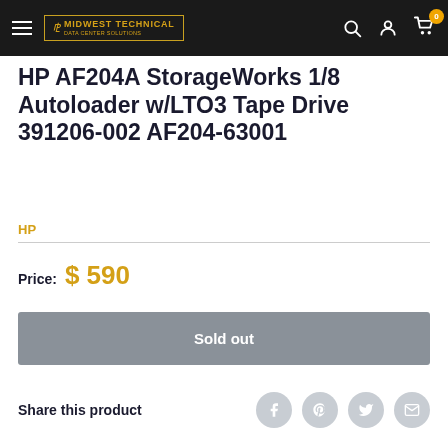MidWest Technical — navigation bar with logo, search, account, cart (0)
HP AF204A StorageWorks 1/8 Autoloader w/LTO3 Tape Drive 391206-002 AF204-63001
HP
Price: $ 590
Sold out
Share this product